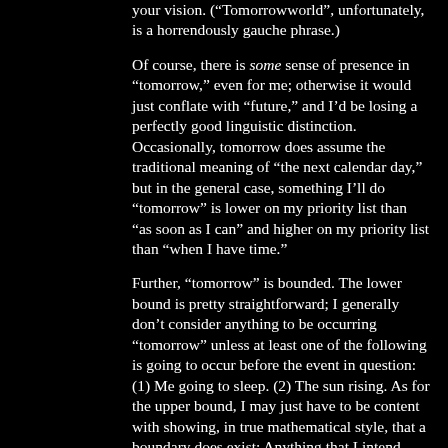your vision. ("Tomorrowworld", unfortunately, is a horrendously gauche phrase.)
Of course, there is some sense of presence in "tomorrow," even for me; otherwise it would just conflate with "future," and I'd be losing a perfectly good linguistic distinction. Occasionally, tomorrow does assume the traditional meaning of "the next calendar day," but in the general case, something I'll do "tomorrow" is lower on my priority list than "as soon as I can" and higher on my priority list than "when I have time."
Further, "tomorrow" is bounded. The lower bound is pretty straightforward; I generally don't consider anything to be occurring "tomorrow" unless at least one of the following is going to occur before the event in question: (1) Me going to sleep. (2) The sun rising. As for the upper bound, I may just have to be content with showing, in true mathematical style, that a boundary does exist; Anything that I intend